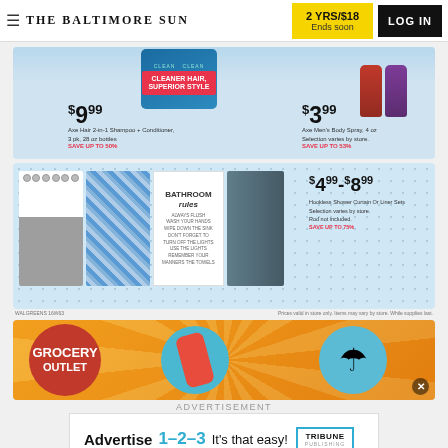THE BALTIMORE SUN | 2 YRS/$18 Ends soon | LOG IN
[Figure (advertisement): Walgreens ad showing Axe Hair 2-in-1 Shampoo+Conditioner 3pk 28oz bottles for $9.99 (Save up to 50%) and Axe Men's Body Spray 4oz for $3.99 (Save up to 53%), on light blue background]
[Figure (advertisement): Walgreens ad showing Hookless Shower Curtain Or Liner Sets priced $4.99-$8.99, Selection varies by store, Rod not included, Save up to 75%. Shows gray/white curtain, blue patterned curtain, Bathroom Rules text sign, and dark gray curtain on polka-dot blue background]
Prices valid in store only. Items may vary by store. While supplies last.
[Figure (advertisement): Grocery Outlet advertisement banner with sunburst orange background, Grocery Outlet logo circle in red, pool float in blue circle, beach umbrella in blue circle]
ADVERTISEMENT
[Figure (advertisement): Tribune Publishing ad: Advertise 1-2-3 It's that easy! Tribune Publishing logo]